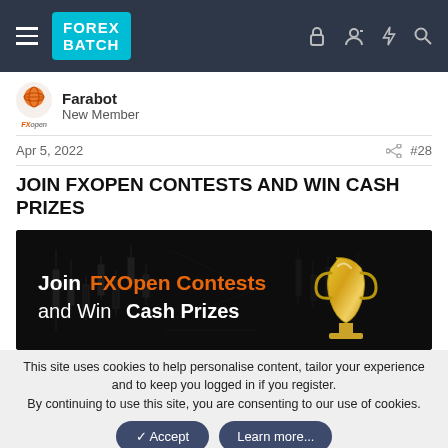FOREX BATCH — navigation header with hamburger menu and icons
Farabot
New Member
Apr 5, 2022   #28
JOIN FXOPEN CONTESTS AND WIN CASH PRIZES
[Figure (illustration): Dark background banner image with candlestick chart pattern, text 'Join FXOpen Contests and Win Cash Prizes' and a golden trophy on the right side]
This site uses cookies to help personalise content, tailor your experience and to keep you logged in if you register.
By continuing to use this site, you are consenting to our use of cookies.
✓ Accept   Learn more...